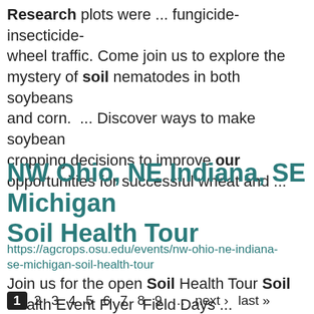Research plots were ... fungicide-insecticide- wheel traffic. Come join us to explore the mystery of soil nematodes in both soybeans and corn.  ... Discover ways to make soybean cropping decisions to improve our opportunities for successful wheat and ...
NW Ohio, NE Indiana, SE Michigan Soil Health Tour
https://agcrops.osu.edu/events/nw-ohio-ne-indiana-se-michigan-soil-health-tour
Join us for the open Soil Health Tour Soil Health Event Flyer  Field Days ...
1 2 3 4 5 6 7 8 9 … next › last »